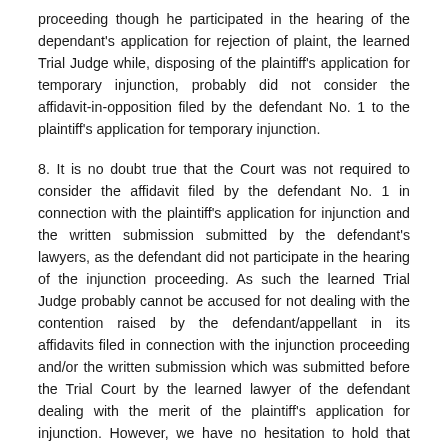proceeding though he participated in the hearing of the dependant's application for rejection of plaint, the learned Trial Judge while, disposing of the plaintiff's application for temporary injunction, probably did not consider the affidavit-in-opposition filed by the defendant No. 1 to the plaintiff's application for temporary injunction.
8. It is no doubt true that the Court was not required to consider the affidavit filed by the defendant No. 1 in connection with the plaintiff's application for injunction and the written submission submitted by the defendant's lawyers, as the defendant did not participate in the hearing of the injunction proceeding. As such the learned Trial Judge probably cannot be accused for not dealing with the contention raised by the defendant/appellant in its affidavits filed in connection with the injunction proceeding and/or the written submission which was submitted before the Trial Court by the learned lawyer of the defendant dealing with the merit of the plaintiff's application for injunction. However, we have no hesitation to hold that under such circumstances the learned Trial Court, instead of disposing of the plaintiff's application for temporary injunction as a whole, could have passed an ad interim order of injunction by deferring the hearing of the plaintiff's application for temporary injunction, as the